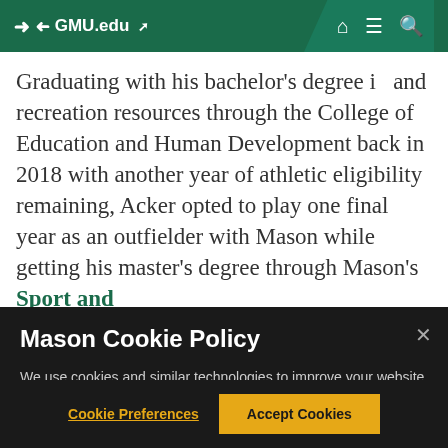GMU.edu
Graduating with his bachelor's degree in and recreation resources through the College of Education and Human Development back in 2018 with another year of athletic eligibility remaining, Acker opted to play one final year as an outfielder with Mason while getting his master's degree through Mason's Sport and
Mason Cookie Policy
We use cookies and similar technologies to improve your website experience and help us understand how you use our website. By continuing to use this website, you consent to the usage of cookies. Learn more about our Cookie Policy
Cookie Preferences
Accept Cookies